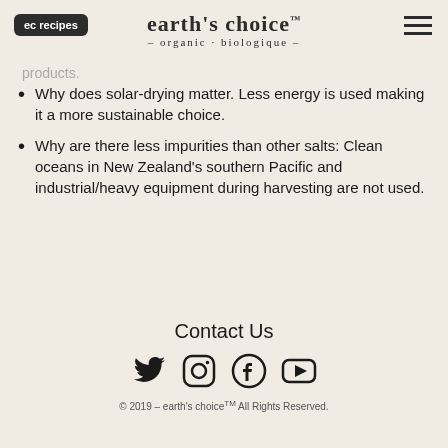ec recipes | earth's choice - organic · biologique -
products.
Why does solar-drying matter. Less energy is used making it a more sustainable choice.
Why are there less impurities than other salts: Clean oceans in New Zealand's southern Pacific and industrial/heavy equipment during harvesting are not used.
[Figure (photo): Close-up photograph of green grass/meadow with small yellow wildflowers]
Contact Us
[Figure (infographic): Social media icons: Twitter, Instagram, Facebook, YouTube]
© 2019 - earth's choice™ All Rights Reserved.